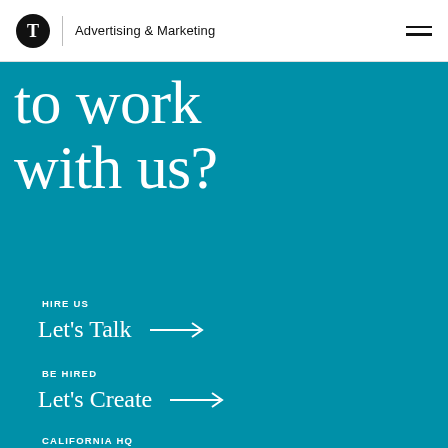T | Advertising & Marketing
to work with us?
HIRE US
Let's Talk →
BE HIRED
Let's Create →
CALIFORNIA HQ